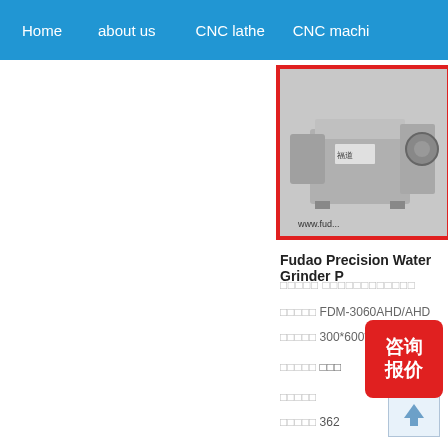Home   about us   CNC lathe   CNC machi...
[Figure (photo): Fudao precision water grinder machine photo, industrial grinding machine in grey color, shown inside a red-bordered frame with www.fud... watermark]
Fudao Precision Water Grinder P...
□□□□□ □□□□□□□□□□□□
□□□□□ FDM-3060AHD/AHD
□□□□□ 300*600*...
□□□□□ □□□
□□□□□
□□□□□ 362